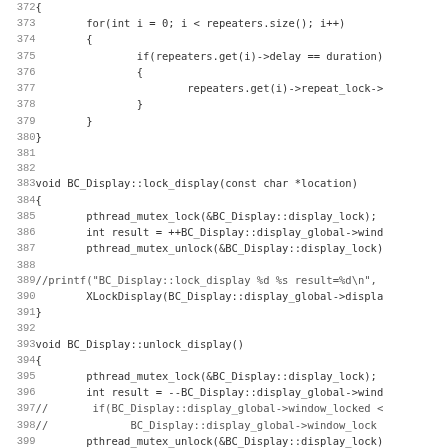Source code listing showing C++ BC_Display class methods including void BC_Display::handle_repeaters, void BC_Display::lock_display, and void BC_Display::unlock_display, lines 372-403